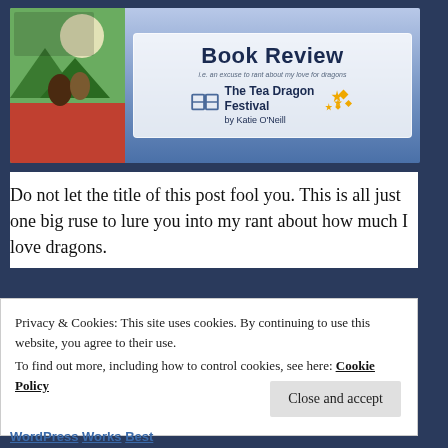[Figure (illustration): Book review banner image. Left side shows the cover of 'The Tea Dragon Festival' book with illustrated art of characters. Right side shows a white card with 'Book Review' in large bold dark blue text, subtitle 'i.e. an excuse to rant about my love for dragons', an open book icon, and text 'The Tea Dragon Festival by Katie O'Neill' with gold sparkle decorations.]
Do not let the title of this post fool you. This is all just one big ruse to lure you into my rant about how much I love dragons.
Privacy & Cookies: This site uses cookies. By continuing to use this website, you agree to their use.
To find out more, including how to control cookies, see here: Cookie Policy
Close and accept
WordPress Works Best